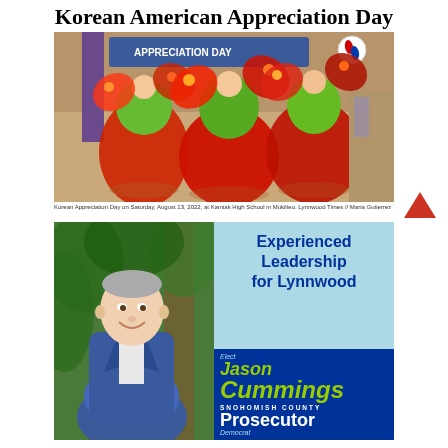Korean American Appreciation Day
[Figure (photo): Korean traditional dancers performing in colorful red and green hanbok at Korean Appreciation Day event at Kamiak High School in Mukilteo.]
Korean Appreciation Day on Saturday, August 13, 2022, at Kamiak High School in Mukilteo. Lynnwood Times // Maria Gutierrez
[Figure (photo): Campaign advertisement for Jason Cummings for Snohomish County Prosecutor (Democrat). Left side shows a man in a blue suit smiling with arms crossed against a green background. Right side has a light blue background with dark blue bold text reading 'Experienced Leadership for Lynnwood' and a bottom dark blue section with text 'Elect Jason Cummings Snohomish County Prosecutor Democrat' in green and white.]